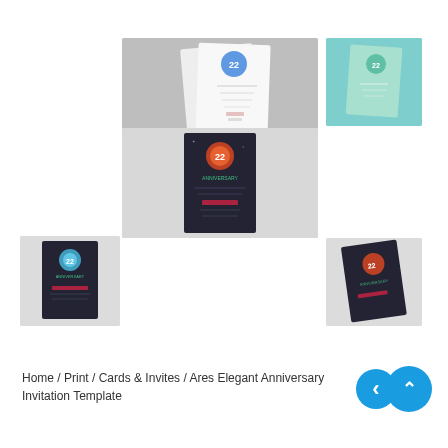[Figure (photo): Anniversary invitation card mockup on gray background - white folded card with blue number 22 badge]
[Figure (photo): Anniversary invitation card mockup on teal background - small card with green color scheme and number 22]
[Figure (photo): Anniversary invitation card mockup on light gray background - dark card with colorful number 22 and holographic design]
[Figure (photo): Anniversary invitation card mockup on light gray background - small dark card with number 22 and neon colors]
[Figure (photo): Anniversary invitation card mockup on light gray background - dark tilted card with number 22 and neon design]
Home / Print / Cards & Invites / Ares Elegant Anniversary Invitation Template